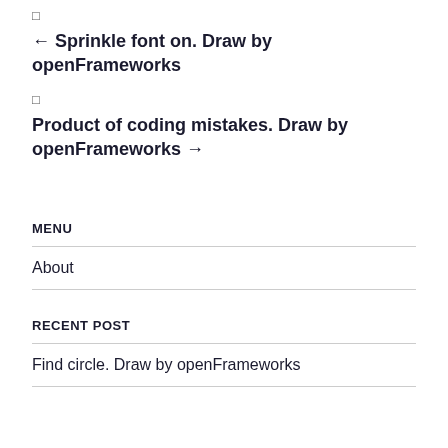□
← Sprinkle font on. Draw by openFrameworks
□
Product of coding mistakes. Draw by openFrameworks →
MENU
About
RECENT POST
Find circle. Draw by openFrameworks